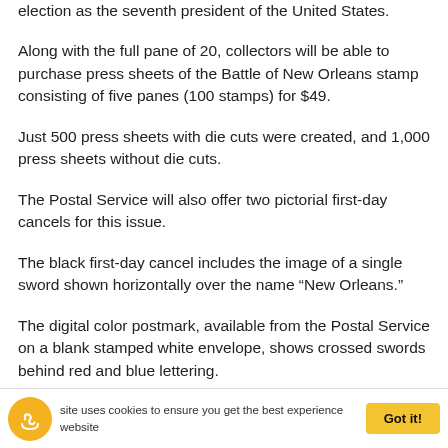election as the seventh president of the United States.
Along with the full pane of 20, collectors will be able to purchase press sheets of the Battle of New Orleans stamp consisting of five panes (100 stamps) for $49.
Just 500 press sheets with die cuts were created, and 1,000 press sheets without die cuts.
The Postal Service will also offer two pictorial first-day cancels for this issue.
The black first-day cancel includes the image of a single sword shown horizontally over the name “New Orleans.”
The digital color postmark, available from the Postal Service on a blank stamped white envelope, shows crossed swords behind red and blue lettering.
Technical details and first-day cancel ordering information for the new War of 1812: Battle of New Orleans forever